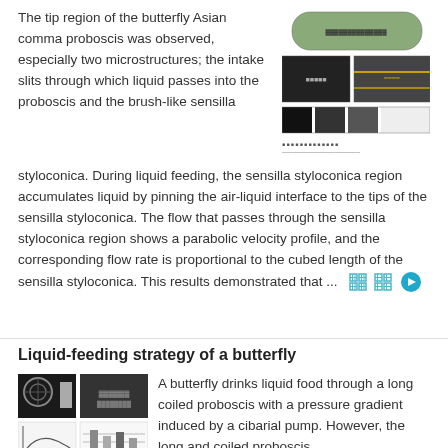The tip region of the butterfly Asian comma proboscis was observed, especially two microstructures; the intake slits through which liquid passes into the proboscis and the brush-like sensilla styloconica. During liquid feeding, the sensilla styloconica region accumulates liquid by pinning the air-liquid interface to the tips of the sensilla styloconica. The flow that passes through the sensilla styloconica region shows a parabolic velocity profile, and the corresponding flow rate is proportional to the cubed length of the sensilla styloconica. This results demonstrated that ...
[Figure (photo): Microscopy images of butterfly proboscis tip showing sensilla styloconica structures]
Liquid-feeding strategy of a butterfly
[Figure (photo): Microscopy and diagram images related to butterfly liquid feeding]
A butterfly drinks liquid food through a long coiled proboscis with a pressure gradient induced by a cibarial pump. However, the long and coiled proboscis